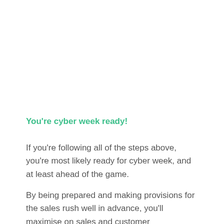You're cyber week ready!
If you're following all of the steps above, you're most likely ready for cyber week, and at least ahead of the game.
By being prepared and making provisions for the sales rush well in advance, you'll maximise on sales and customer